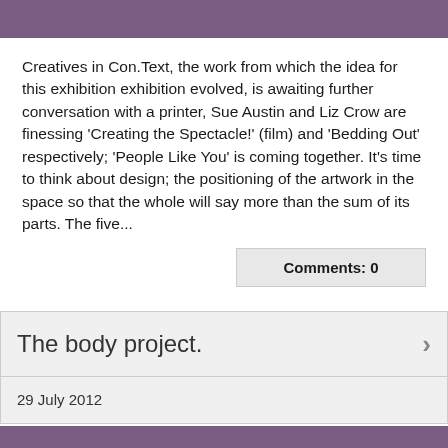Creatives in Con.Text, the work from which the idea for this exhibition exhibition evolved, is awaiting further conversation with a printer, Sue Austin and Liz Crow are finessing 'Creating the Spectacle!' (film) and 'Bedding Out' respectively; 'People Like You' is coming together. It's time to think about design; the positioning of the artwork in the space so that the whole will say more than the sum of its parts. The five...
Comments: 0
The body project.
29 July 2012